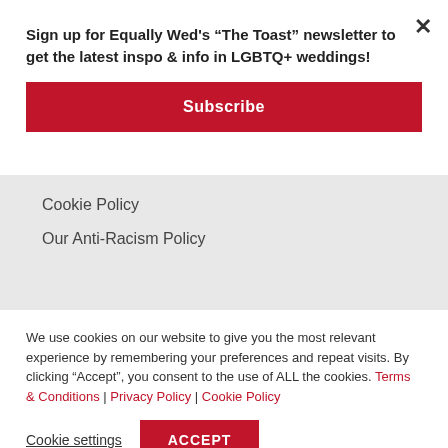Sign up for Equally Wed's “The Toast” newsletter to get the latest inspo & info in LGBTQ+ weddings!
Subscribe
Cookie Policy
Our Anti-Racism Policy
We use cookies on our website to give you the most relevant experience by remembering your preferences and repeat visits. By clicking “Accept”, you consent to the use of ALL the cookies. Terms & Conditions | Privacy Policy | Cookie Policy
Cookie settings
ACCEPT